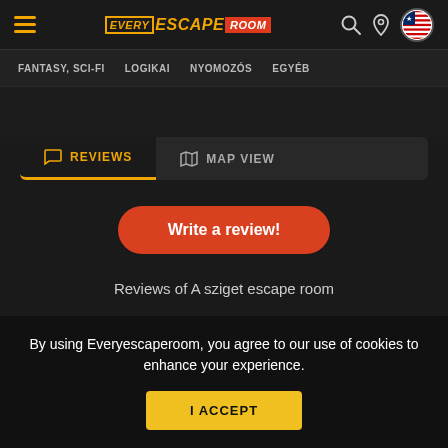Every Escape Room - navigation header with hamburger menu, logo, search, location, and US flag icons
FANTASY, SCI-FI | LOGIKAI | NYOMOZÓS | EGYÉB
REVIEWS | MAP VIEW - tab navigation
Write a review!
Reviews of A sziget escape room
By using Everyescaperoom, you agree to our use of cookies to enhance your experience.
I ACCEPT